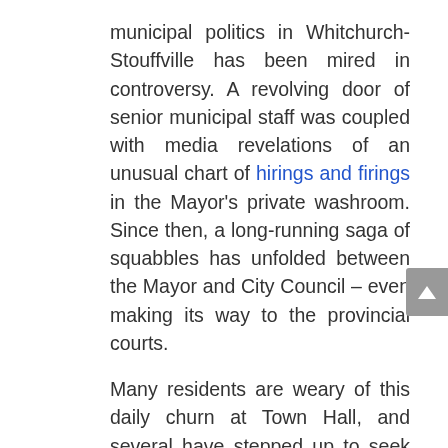municipal politics in Whitchurch-Stouffville has been mired in controversy. A revolving door of senior municipal staff was coupled with media revelations of an unusual chart of hirings and firings in the Mayor's private washroom. Since then, a long-running saga of squabbles has unfolded between the Mayor and City Council – even making its way to the provincial courts.
Many residents are weary of this daily churn at Town Hall, and several have stepped up to seek Altmann's chain of office. These include a current municipal councillor and mayoral adversary (Iain Lovatt), a former Councillor who narrowly lost to Altmann in 2014 by less than 500 votes (Phil Bannon), and an emerging local leader (Anand Daté). Perhaps